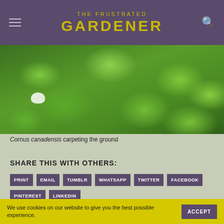THE FRUSTRATED GARDENER
[Figure (photo): Close-up photo of Cornus canadensis ground cover with dense green leaves carpeting the ground, with hints of small white flowers visible beneath]
Cornus canadensis carpeting the ground
SHARE THIS WITH OTHERS:
PRINT
EMAIL
TUMBLR
WHATSAPP
TWITTER
FACEBOOK
PINTEREST
LINKEDIN
We use cookies on our website to give you the best possible experience.